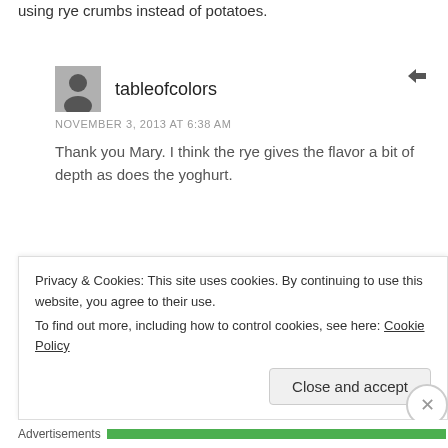using rye crumbs instead of potatoes.
tableofcolors
NOVEMBER 3, 2013 AT 6:38 AM
Thank you Mary. I think the rye gives the flavor a bit of depth as does the yoghurt.
Coffee and Crumpets
OCTOBER 30, 2013 AT 4:19 AM
Privacy & Cookies: This site uses cookies. By continuing to use this website, you agree to their use.
To find out more, including how to control cookies, see here: Cookie Policy
Close and accept
Advertisements